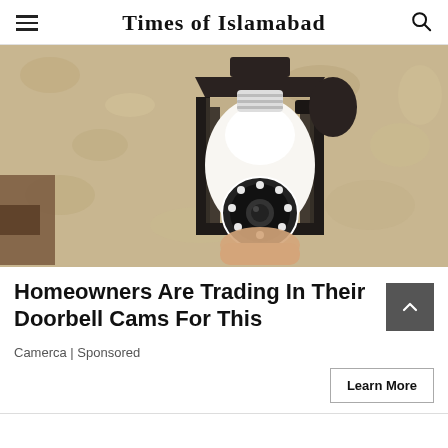Times of Islamabad
[Figure (photo): A security camera disguised as a light bulb installed inside an outdoor wall lantern fixture. The bulb-shaped camera has a round lens with LED lights visible at the bottom. The fixture is mounted on a textured beige/tan stucco wall. A hand is visible holding or installing the device.]
Homeowners Are Trading In Their Doorbell Cams For This
Camerca | Sponsored
Learn More